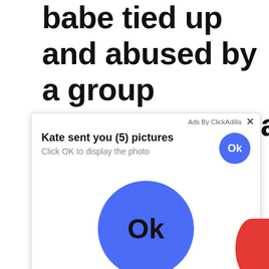babe tied up and abused by a group uncensoredamateur tied blindfolded asian teen girlfriend fuckedbinano in fishnet
[Figure (screenshot): Ad overlay popup from ClickAdilla showing 'Kate sent you (5) pictures' with 'Click OK to display the photo' text, a small blue Ok button in the top right of the popup, and a large blue Ok button centered in the lower portion of the popup. An X close button and 'Ads By ClickAdilla' label appear at the top right.]